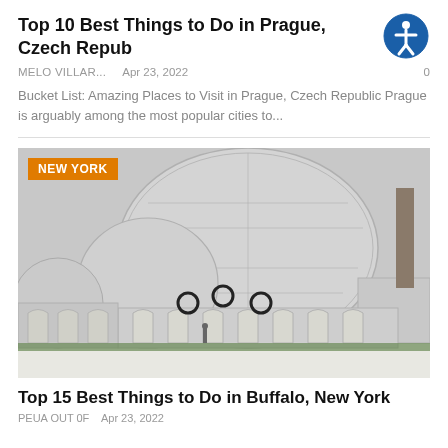Top 10 Best Things to Do in Prague, Czech Republic
MELO VILLAR...   Apr 23, 2022   0
Bucket List: Amazing Places to Visit in Prague, Czech Republic Prague is arguably among the most popular cities to...
[Figure (photo): Exterior photo of a large glass greenhouse/conservatory building in winter with snow, decorated with wreaths. Orange badge reads NEW YORK.]
Top 15 Best Things to Do in Buffalo, New York
PEUA OUT 0F   Apr 23, 2022